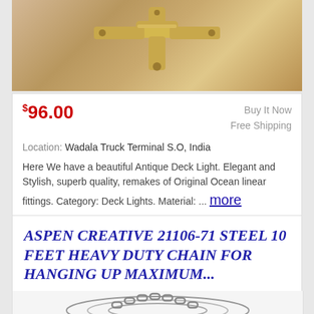[Figure (photo): Brass antique deck light fitting, gold-colored metal cross/T-shaped connector piece on gray background]
$96.00   Buy It Now
Free Shipping
Location: Wadala Truck Terminal S.O, India
Here We have a beautiful Antique Deck Light. Elegant and Stylish, superb quality, remakes of Original Ocean linear fittings. Category: Deck Lights. Material: ... more
ASPEN CREATIVE 21106-71 STEEL 10 FEET HEAVY DUTY CHAIN FOR HANGING UP MAXIMUM...
[Figure (photo): Steel chain links arranged in a fan/arc pattern, silver metallic chain for hanging lights]